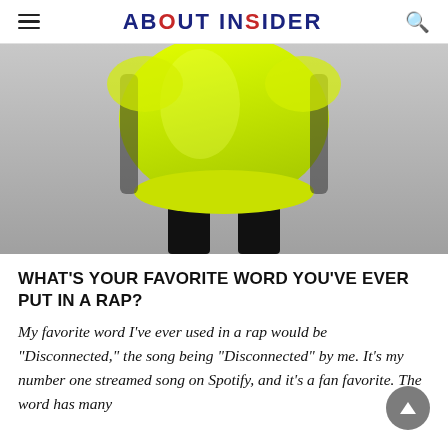ABOUT INSIDER
[Figure (photo): Rear view of a person wearing a neon yellow/lime green oversized top and black pants, photographed against a light grey background.]
WHAT'S YOUR FAVORITE WORD YOU'VE EVER PUT IN A RAP?
My favorite word I've ever used in a rap would be "Disconnected," the song being "Disconnected" by me. It's my number one streamed song on Spotify, and it's a fan favorite. The word has many